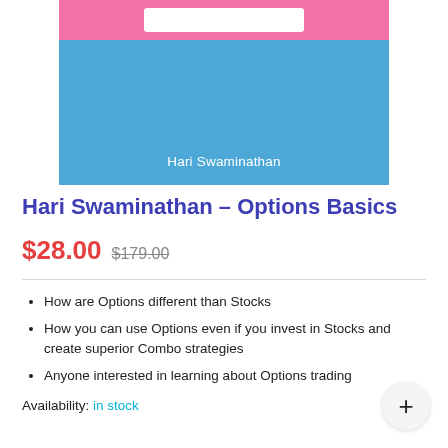[Figure (illustration): Book cover with light blue background, pink strip at top with a white bar/button shape, and author name 'Hari Swaminathan' in white text near the bottom]
Hari Swaminathan – Options Basics
$28.00 $179.00
How are Options different than Stocks
How you can use Options even if you invest in Stocks and create superior Combo strategies
Anyone interested in learning about Options trading
Availability: in stock